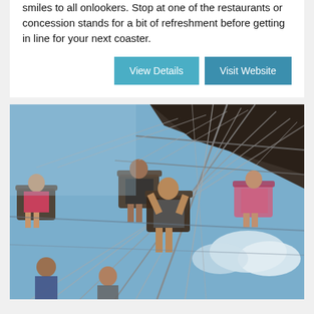smiles to all onlookers. Stop at one of the restaurants or concession stands for a bit of refreshment before getting in line for your next coaster.
[Figure (photo): Photo of people riding a swing/chair carousel ride at an amusement park, taken from a low angle looking up, showing riders suspended in chairs against a blue sky with some clouds.]